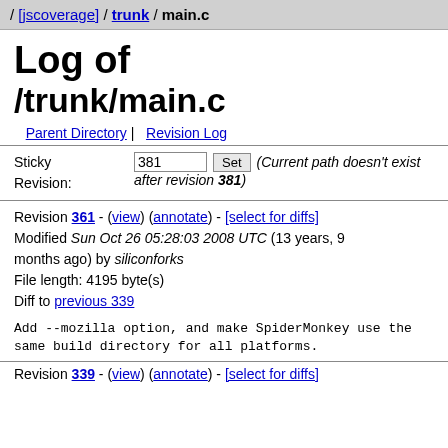/ [jscoverage] / trunk / main.c
Log of /trunk/main.c
Parent Directory | Revision Log
Sticky Revision: 381 Set (Current path doesn't exist after revision 381)
Revision 361 - (view) (annotate) - [select for diffs] Modified Sun Oct 26 05:28:03 2008 UTC (13 years, 9 months ago) by siliconforks File length: 4195 byte(s) Diff to previous 339
Add --mozilla option, and make SpiderMonkey use the
same build directory for all platforms.
Revision 339 - (view) (annotate) - [select for diffs]